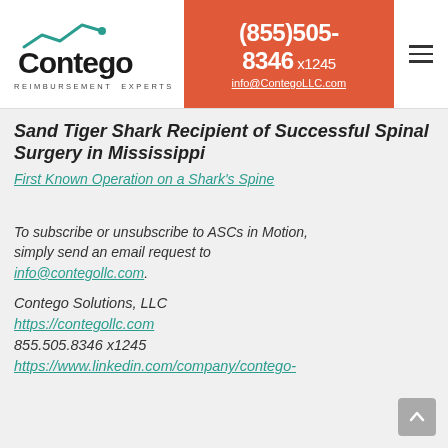[Figure (logo): Contego Reimbursement Experts logo with teal line-graph icon above text]
(855)505-8346 x1245
info@ContegoLLC.com
Sand Tiger Shark Recipient of Successful Spinal Surgery in Mississippi
First Known Operation on a Shark's Spine
To subscribe or unsubscribe to ASCs in Motion, simply send an email request to info@contegollc.com.
Contego Solutions, LLC
https://contegollc.com
855.505.8346 x1245
https://www.linkedin.com/company/contego-